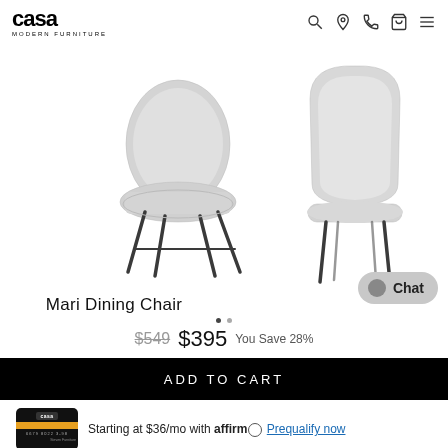casa MODERN FURNITURE
[Figure (photo): Two views of the Mari Dining Chair: left shows a side/angled view with light gray upholstered shell and dark metal legs; right shows a front view of the same chair with light gray seat and dark metal legs.]
Mari Dining Chair
$549 $395 You Save 28%
ADD TO CART
Starting at $36/mo with affirm Prequalify now